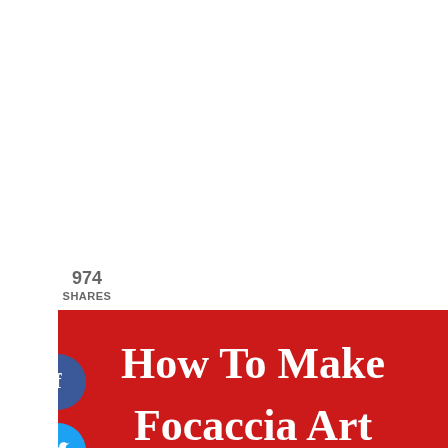974
SHARES
[Figure (photo): Screenshot of a food blog page showing a Pinterest-style image card for 'How To Make Focaccia Art' from JeanettesHealthyLiving.com. The image shows focaccia bread decorated with red peppers arranged as flower petals, a purple onion ring center, yellow squash spirals forming a sunflower, and herbs. A red banner at the top displays the article title in white bold serif font. Social sharing buttons (Facebook, Twitter, Pinterest with count 974, Yum) appear on the left side. The bottom portion shows a faded reflection of the image.]